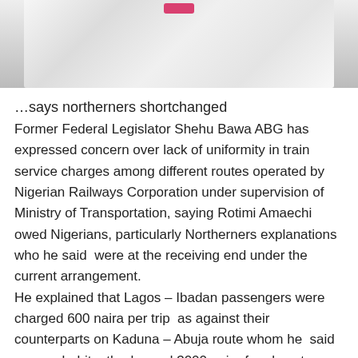[Figure (photo): Photo of a person wearing white clothing, partially visible from chest area, with a small pink accent visible at top center]
…says northerners shortchanged
Former Federal Legislator Shehu Bawa ABG has expressed concern over lack of uniformity in train service charges among different routes operated by Nigerian Railways Corporation under supervision of Ministry of Transportation, saying Rotimi Amaechi owed Nigerians, particularly Northerners explanations who he said  were at the receiving end under the current arrangement. He explained that Lagos – Ibadan passengers were charged 600 naira per trip  as against their counterparts on Kaduna – Abuja route whom he  said were exhobitantly charged 3000 naira for almost an equal length of journey, asking authorities in charge of the Rail transport if diesel cost is higher in the Northern part than the southern part of the country.